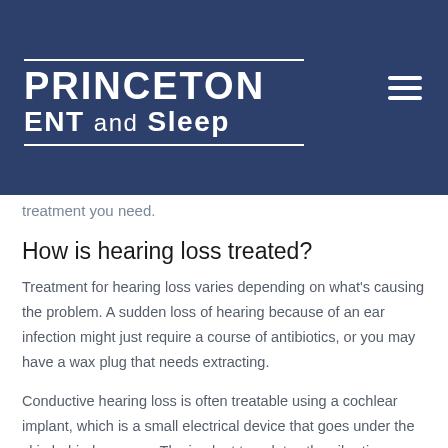PRINCETON ENT and Sleep
treatment you need.
How is hearing loss treated?
Treatment for hearing loss varies depending on what's causing the problem. A sudden loss of hearing because of an ear infection might just require a course of antibiotics, or you may have a wax plug that needs extracting.
Conductive hearing loss is often treatable using a cochlear implant, which is a small electrical device that goes under the skin behind your ear. The implant translates the vibrations sound makes into electrical signals that your brain can understand.